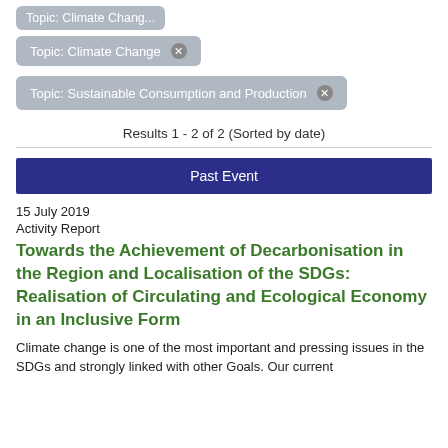Topic: Climate Change ×
Topic: Sustainable Consumption and Production ×
Results 1 - 2 of 2 (Sorted by date)
Past Event
15 July 2019
Activity Report
Towards the Achievement of Decarbonisation in the Region and Localisation of the SDGs: Realisation of Circulating and Ecological Economy in an Inclusive Form
Climate change is one of the most important and pressing issues in the SDGs and strongly linked with other Goals. Our current